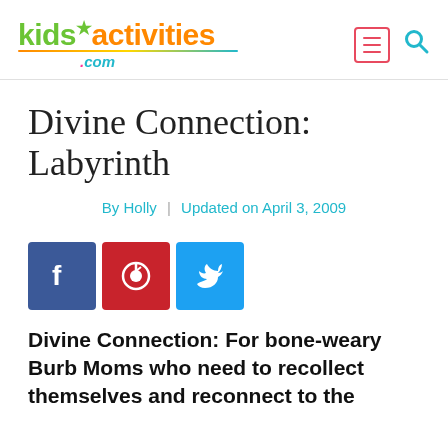kidsactivities.com
Divine Connection: Labyrinth
By Holly | Updated on April 3, 2009
[Figure (other): Social sharing buttons: Facebook, Pinterest, Twitter]
Divine Connection: For bone-weary Burb Moms who need to recollect themselves and reconnect to the